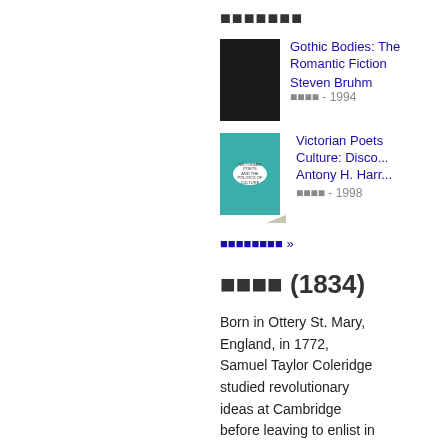■■■■■■■
Gothic Bodies: The Romantic Fiction
Steven Bruhm
■■■■ - 1994
Victorian Poets Culture: Disco... Antony H. Harr...
■■■■ - 1998
■■■■■■■■ »
■■■■ (1834)
Born in Ottery St. Mary, England, in 1772, Samuel Taylor Coleridge studied revolutionary ideas at Cambridge before leaving to enlist in